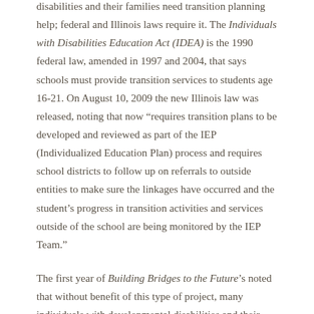disabilities and their families need transition planning help; federal and Illinois laws require it. The Individuals with Disabilities Education Act (IDEA) is the 1990 federal law, amended in 1997 and 2004, that says schools must provide transition services to students age 16-21. On August 10, 2009 the new Illinois law was released, noting that now "requires transition plans to be developed and reviewed as part of the IEP (Individualized Education Plan) process and requires school districts to follow up on referrals to outside entities to make sure the linkages have occurred and the student's progress in transition activities and services outside of the school are being monitored by the IEP Team."
The first year of Building Bridges to the Future's noted that without benefit of this type of project, many individuals with developmental disabilities and their parents would languish in service "limbo", and many will fail to make the successful